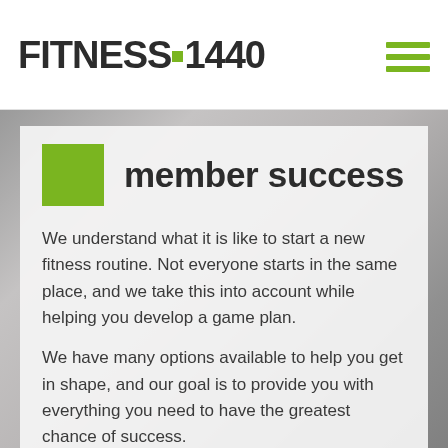[Figure (logo): FITNESS 1440 logo with green square dot between FITNESS and 1440 text]
[Figure (other): Green hamburger menu icon (three horizontal green lines)]
[Figure (photo): Blurred gym/fitness background photo showing people exercising]
member success
We understand what it is like to start a new fitness routine. Not everyone starts in the same place, and we take this into account while helping you develop a game plan.
We have many options available to help you get in shape, and our goal is to provide you with everything you need to have the greatest chance of success.